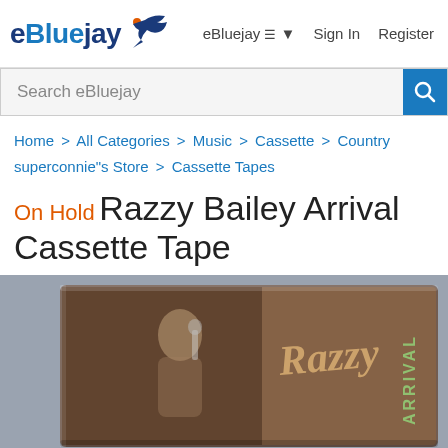eBluejay   eBluejay ≡ ▾   Sign In   Register
Search eBluejay
Home > All Categories > Music > Cassette > Country > superconnie"s Store > Cassette Tapes
On Hold Razzy Bailey Arrival Cassette Tape
[Figure (photo): Photo of a Razzy Bailey 'Arrival' cassette tape in a clear plastic case, showing the album cover with the artist performing and decorative script text reading 'Razzy' and 'ARRIVAL']